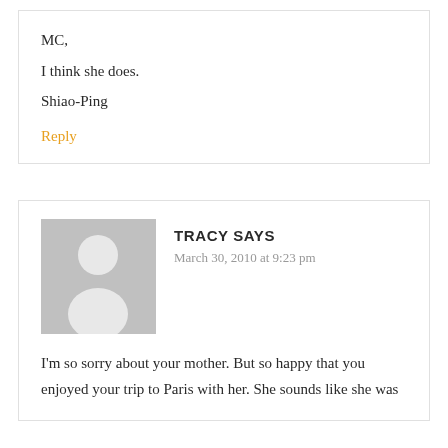MC,
I think she does.
Shiao-Ping
Reply
TRACY SAYS
March 30, 2010 at 9:23 pm
I'm so sorry about your mother. But so happy that you enjoyed your trip to Paris with her. She sounds like she was